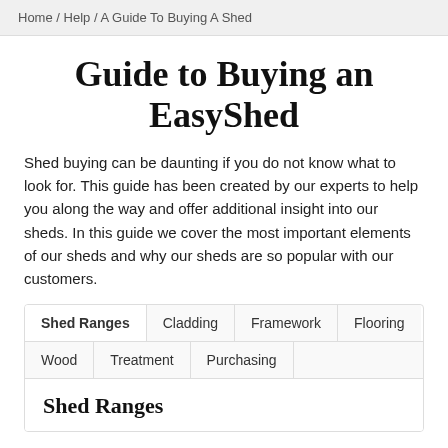Home / Help / A Guide To Buying A Shed
Guide to Buying an EasyShed
Shed buying can be daunting if you do not know what to look for. This guide has been created by our experts to help you along the way and offer additional insight into our sheds. In this guide we cover the most important elements of our sheds and why our sheds are so popular with our customers.
Shed Ranges
Cladding
Framework
Flooring
Wood
Treatment
Purchasing
Shed Ranges